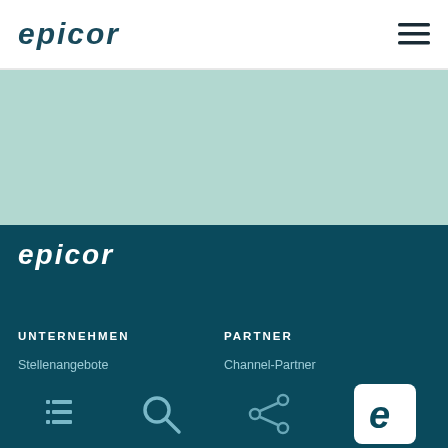[Figure (logo): Epicor logo in dark teal in the header navigation bar]
[Figure (infographic): Hamburger/menu icon (three horizontal lines) in top right of header]
[Figure (illustration): Light mint/teal hero band section below header]
[Figure (logo): Epicor logo in white on dark teal footer background]
UNTERNEHMEN
Stellenangebote
Nachrichten
PARTNER
Channel-Partner
ISV Partner
[Figure (infographic): Bottom toolbar with list icon, search icon, share icon, and Epicor badge icon]